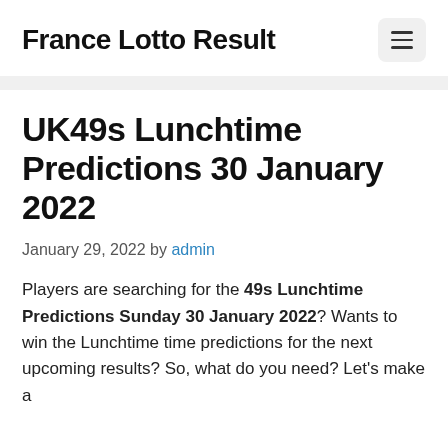France Lotto Result
UK49s Lunchtime Predictions 30 January 2022
January 29, 2022 by admin
Players are searching for the 49s Lunchtime Predictions Sunday 30 January 2022? Wants to win the Lunchtime time predictions for the next upcoming results? So, what do you need? Let's make a